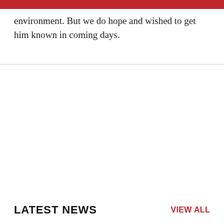environment. But we do hope and wished to get him known in coming days.
LATEST NEWS
VIEW ALL